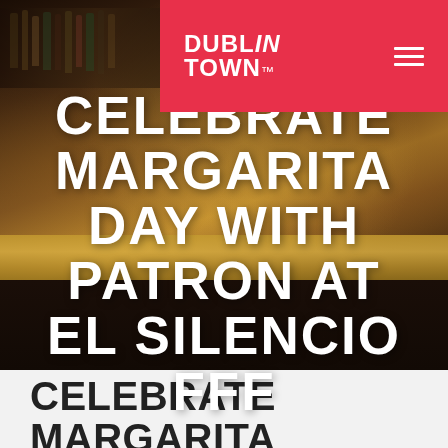DUBLINTOWN
[Figure (photo): Bar interior with bottles on shelves, golden bar surface, dark atmospheric lighting]
CELEBRATE MARGARITA DAY WITH PATRON AT EL SILENCIO FFF
CELEBRATE MARGARITA DAY WITH